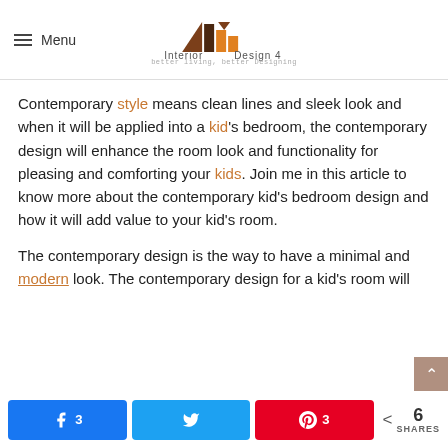Menu | Interior Design 4 — better living, better Designing
Contemporary style means clean lines and sleek look and when it will be applied into a kid's bedroom, the contemporary design will enhance the room look and functionality for pleasing and comforting your kids. Join me in this article to know more about the contemporary kid's bedroom design and how it will add value to your kid's room.
The contemporary design is the way to have a minimal and modern look. The contemporary design for a kid's room will
3 (Facebook) | (Twitter) | 3 (Pinterest) | < 6 SHARES